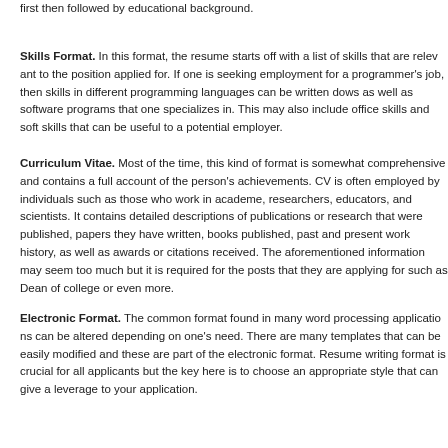first then followed by educational background.
Skills Format. In this format, the resume starts off with a list of skills that are relevant to the position applied for. If one is seeking employment for a programmer's job, then skills in different programming languages can be written dows as well as software programs that one specializes in. This may also include office skills and soft skills that can be useful to a potential employer.
Curriculum Vitae. Most of the time, this kind of format is somewhat comprehensive and contains a full account of the person's achievements. CV is often employed by individuals such as those who work in academe, researchers, educators, and scientists. It contains detailed descriptions of publications or research that were published, papers they have written, books published, past and present work history, as well as awards or citations received. The aforementioned information may seem too much but it is required for the posts that they are applying for such as Dean of college or even more.
Electronic Format. The common format found in many word processing applications can be altered depending on one's need. There are many templates that can be easily modified and these are part of the electronic format. Resume writing format is crucial for all applicants but the key here is to choose an appropriate style that can give a leverage to your application.